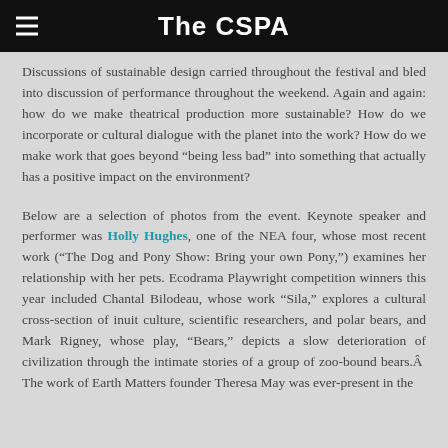The CSPA
Discussions of sustainable design carried throughout the festival and bled into discussion of performance throughout the weekend. Again and again: how do we make theatrical production more sustainable? How do we incorporate or cultural dialogue with the planet into the work? How do we make work that goes beyond “being less bad” into something that actually has a positive impact on the environment?
Below are a selection of photos from the event. Keynote speaker and performer was Holly Hughes, one of the NEA four, whose most recent work (“The Dog and Pony Show: Bring your own Pony,”) examines her relationship with her pets. Ecodrama Playwright competition winners this year included Chantal Bilodeau, whose work “Sila,” explores a cultural cross-section of inuit culture, scientific researchers, and polar bears, and Mark Rigney, whose play, “Bears,” depicts a slow deterioration of civilization through the intimate stories of a group of zoo-bound bears.Â  The work of Earth Matters founder Theresa May was ever-present in the